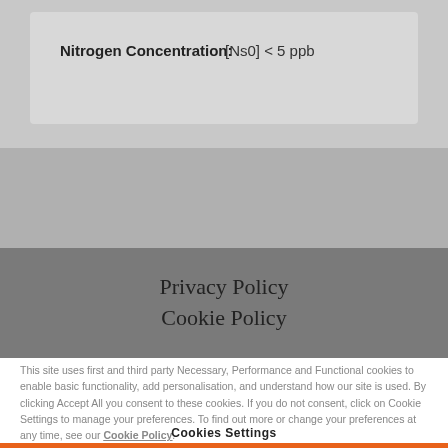Nitrogen Concentration:    [Ns0] < 5 ppb
Privacy Policy
Cookie Policy
This site uses first and third party Necessary, Performance and Functional cookies to enable basic functionality, add personalisation, and understand how our site is used. By clicking Accept All you consent to these cookies. If you do not consent, click on Cookie Settings to manage your preferences. To find out more or change your preferences at any time, see our Cookie Policy.
Cookies Settings